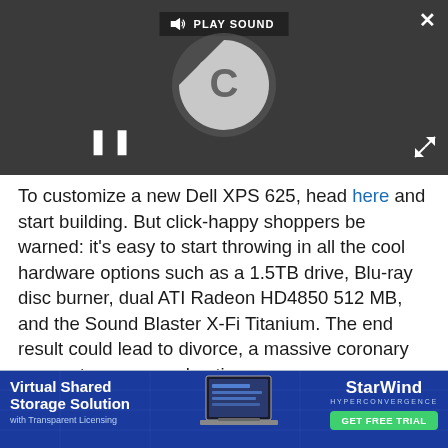[Figure (screenshot): Video player panel with dark background, 'PLAY SOUND' bar at top, a loading spinner with 'C' in center, pause/play controls, close X button top-right, expand arrows bottom-right]
To customize a new Dell XPS 625, head here and start building. But click-happy shoppers be warned: it's easy to start throwing in all the cool hardware options such as a 1.5TB drive, Blu-ray disc burner, dual ATI Radeon HD4850 512 MB, and the Sound Blaster X-Fi Titanium. The end result could lead to divorce, a massive coronary or spontaneous combustion.
[Figure (infographic): StarWind Hyperconvergence advertisement banner with dark blue background, 'Virtual Shared Storage Solution with Transparent Licensing' text on left, laptop graphic in center, StarWind logo and GET FREE TRIAL green button on right]